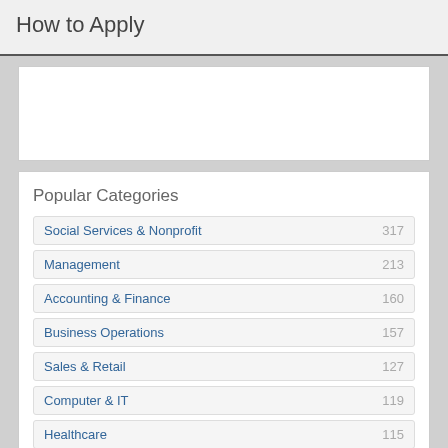How to Apply
[Figure (other): Advertisement placeholder box]
Popular Categories
Social Services & Nonprofit 317
Management 213
Accounting & Finance 160
Business Operations 157
Sales & Retail 127
Computer & IT 119
Healthcare 115